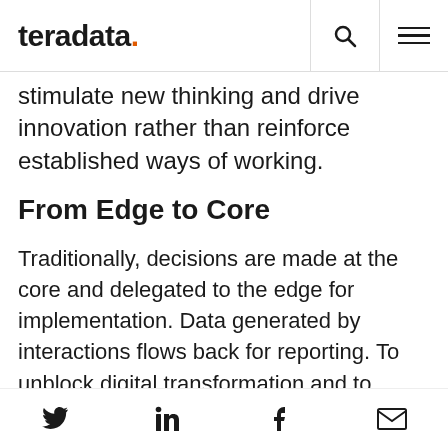teradata.
stimulate new thinking and drive innovation rather than reinforce established ways of working.
From Edge to Core
Traditionally, decisions are made at the core and delegated to the edge for implementation. Data generated by interactions flows back for reporting. To unblock digital transformation and to make fast, effective, data-driven decisions, CEOs must reverse this flow. Data from the front lines – the information on real customer interactions, whether
Twitter, LinkedIn, Facebook, Email